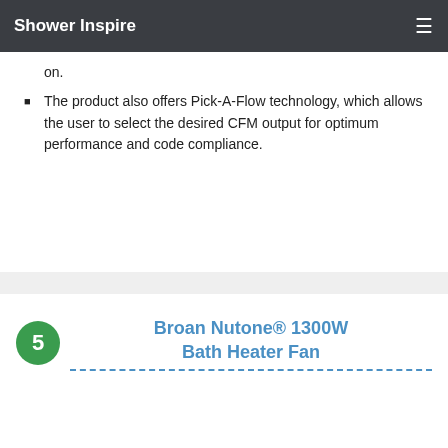Shower Inspire
on.
The product also offers Pick-A-Flow technology, which allows the user to select the desired CFM output for optimum performance and code compliance.
5  Broan Nutone® 1300W Bath Heater Fan